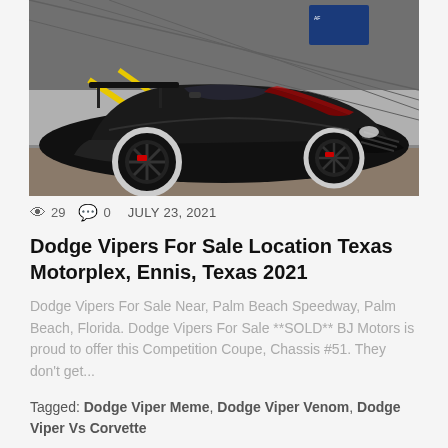[Figure (photo): Black Dodge Viper Competition Coupe race car on a track, shot from the front-left angle, showing wide bodywork, large wheels with white-outline tires, red brake calipers, and a racing rear wing. Background shows a chain-link fence and snowy/rainy conditions.]
👁 29   💬 0   JULY 23, 2021
Dodge Vipers For Sale Location Texas Motorplex, Ennis, Texas 2021
Dodge Vipers For Sale Near, Palm Beach Speedway, Palm Beach, Florida. Dodge Vipers For Sale **SOLD** BJ Motors is proud to offer this Competition Coupe, Chassis #51. They don't get...
Tagged: Dodge Viper Meme, Dodge Viper Venom, Dodge Viper Vs Corvette